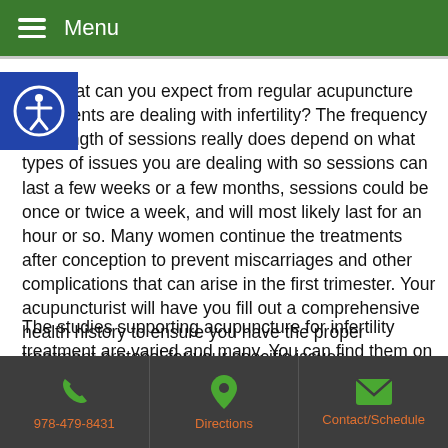Menu
So, what can you expect from regular acupuncture treatments are dealing with infertility? The frequency and length of sessions really does depend on what types of issues you are dealing with so sessions can last a few weeks or a few months, sessions could be once or twice a week, and will most likely last for an hour or so. Many women continue the treatments after conception to prevent miscarriages and other complications that can arise in the first trimester. Your acupuncturist will have you fill out a comprehensive health history to ensure you have the proper treatment protocol for your specific issues.
The studies supporting acupuncture for infertility treatment are varied and many. You can find them on PubMed and look
978-479-8431   Directions   Contact/Schedule